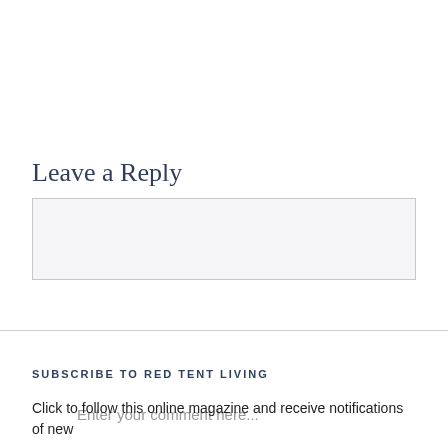Leave a Reply
Enter your comment here...
SUBSCRIBE TO RED TENT LIVING
Click to follow this online magazine and receive notifications of new